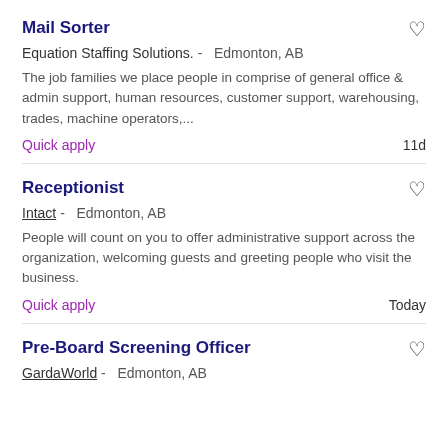Mail Sorter
Equation Staffing Solutions. -   Edmonton, AB
The job families we place people in comprise of general office & admin support, human resources, customer support, warehousing, trades, machine operators,...
Quick apply   11d
Receptionist
Intact -   Edmonton, AB
People will count on you to offer administrative support across the organization, welcoming guests and greeting people who visit the business.
Quick apply   Today
Pre-Board Screening Officer
GardaWorld -   Edmonton, AB